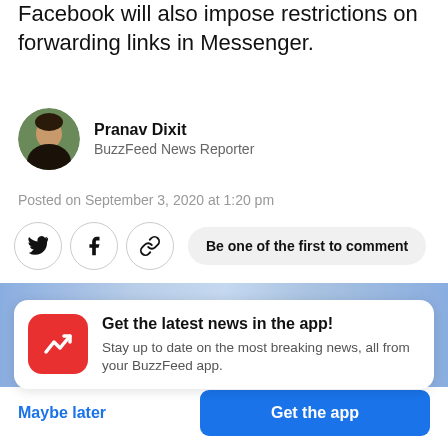Facebook will also impose restrictions on forwarding links in Messenger.
Pranav Dixit
BuzzFeed News Reporter
Posted on September 3, 2020 at 1:20 pm
[Figure (infographic): Social share buttons: Twitter bird icon, Facebook f icon, link/chain icon, and a pill button reading 'Be one of the first to comment']
[Figure (photo): Article header image: partial view of a person's head against a blue background]
[Figure (infographic): BuzzFeed app promo card with red BuzzFeed logo icon, title 'Get the latest news in the app!', subtitle 'Stay up to date on the most breaking news, all from your BuzzFeed app.' with 'Maybe later' text link and 'Get the app' blue button]